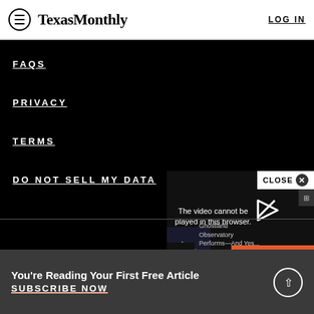Texas Monthly — LOG IN
FAQS
PRIVACY
TERMS
DO NOT SELL MY DATA
[Figure (screenshot): Video player overlay showing 'The video cannot be played in this browser.' message with CLOSE button, MORE button, and Ghostland Observatory Performs thumbnail]
You're Reading Your First Free Article
SUBSCRIBE NOW